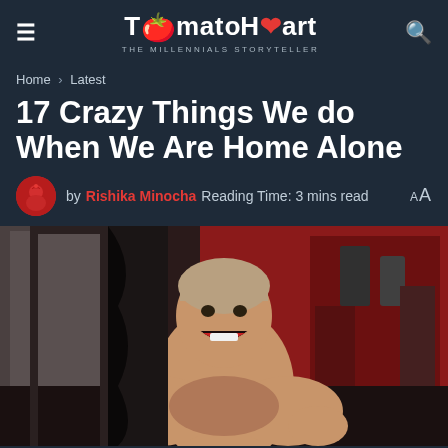TomatoHaart — THE MILLENNIALS STORYTELLER
Home > Latest
17 Crazy Things We do When We Are Home Alone
by Rishika Minocha  Reading Time: 3 mins read  AA
[Figure (photo): A shirtless man with mouth open, laughing or excited expression, standing in front of a red-walled room with shelves and items in the background.]